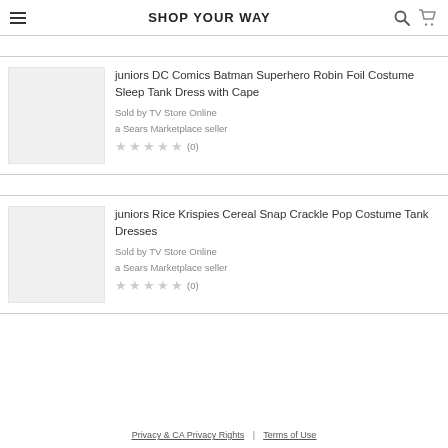SHOP YOUR WAY
[Figure (other): Product image placeholder (gray box) for juniors DC Comics Batman Superhero Robin Foil Costume Sleep Tank Dress with Cape]
juniors DC Comics Batman Superhero Robin Foil Costume Sleep Tank Dress with Cape
Sold by TV Store Online
a Sears Marketplace seller
★★★★★ (0)
[Figure (other): Product image placeholder (gray box) for juniors Rice Krispies Cereal Snap Crackle Pop Costume Tank Dresses]
juniors Rice Krispies Cereal Snap Crackle Pop Costume Tank Dresses
Sold by TV Store Online
a Sears Marketplace seller
★★★★★ (0)
Privacy & CA Privacy Rights | Terms of Use